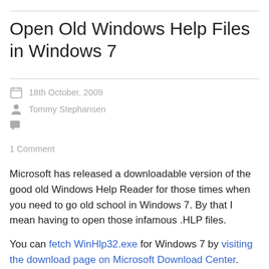Open Old Windows Help Files in Windows 7
18th October, 2009
Tommy Stephansen
1 Comment
Microsoft has released a downloadable version of the good old Windows Help Reader for those times when you need to go old school in Windows 7. By that I mean having to open those infamous .HLP files.
You can fetch WinHlp32.exe for Windows 7 by visiting the download page on Microsoft Download Center.